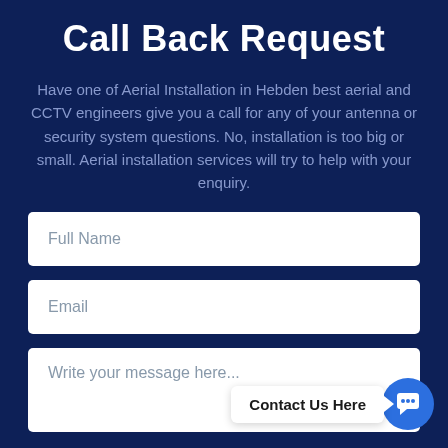Call Back Request
Have one of Aerial Installation in Hebden best aerial and CCTV engineers give you a call for any of your antenna or security system questions. No, installation is too big or small. Aerial installation services will try to help with your enquiry.
Full Name
Email
Write your message here...
Contact Us Here